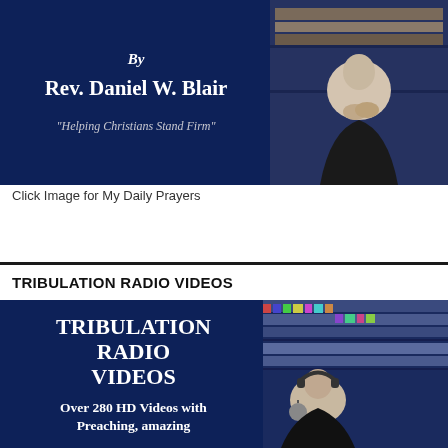[Figure (photo): Dark navy banner with text 'By Rev. Daniel W. Blair – Helping Christians Stand Firm' on the left and a photo of an elderly man sitting in a chair with hands clasped on the right]
Click Image for My Daily Prayers
TRIBULATION RADIO VIDEOS
[Figure (photo): Dark navy banner with 'TRIBULATION RADIO VIDEOS' in large white bold text and 'Over 280 HD Videos with Preaching, amazing' below on the left; on the right a photo of an elderly man with headphones in front of bookshelves]